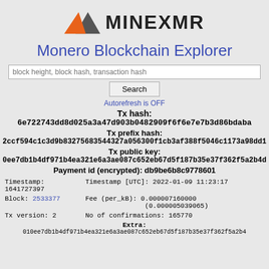[Figure (logo): MINEXMR logo with orange and grey mountain triangles and text MINEXMR]
Monero Blockchain Explorer
block height, block hash, transaction hash [Search]
Autorefresh is OFF
Tx hash: 6e722743dd8d025a3a47d903b0482909f6f6e7e7b3d86bdaba
Tx prefix hash: 2ccf594c1c3d9b83275683544327a056300f1cb3af388f5046c1173a98dd1
Tx public key: 0ee7db1b4df971b4ea321e6a3ae087c652eb67d5f187b35e37f362f5a2b4d
Payment id (encrypted): db9be6b8c9778601
| Field | Value |
| --- | --- |
| Timestamp:
1641727397 | Timestamp [UTC]: 2022-01-09 11:23:17 |
| Block: 2533377 | Fee (per_kB): 0.000007160000
(0.000005039065) |
| Tx version: 2 | No of confirmations: 165770 |
Extra: 010ee7db1b4df971b4ea321e6a3ae087c652eb67d5f187b35e37f362f5a2b4